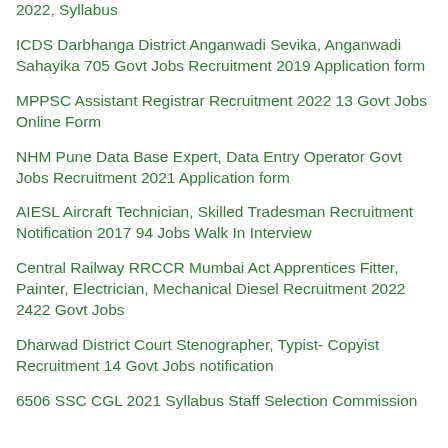2022, Syllabus
ICDS Darbhanga District Anganwadi Sevika, Anganwadi Sahayika 705 Govt Jobs Recruitment 2019 Application form
MPPSC Assistant Registrar Recruitment 2022 13 Govt Jobs Online Form
NHM Pune Data Base Expert, Data Entry Operator Govt Jobs Recruitment 2021 Application form
AIESL Aircraft Technician, Skilled Tradesman Recruitment Notification 2017 94 Jobs Walk In Interview
Central Railway RRCCR Mumbai Act Apprentices Fitter, Painter, Electrician, Mechanical Diesel Recruitment 2022 2422 Govt Jobs
Dharwad District Court Stenographer, Typist- Copyist Recruitment 14 Govt Jobs notification
6506 SSC CGL 2021 Syllabus Staff Selection Commission